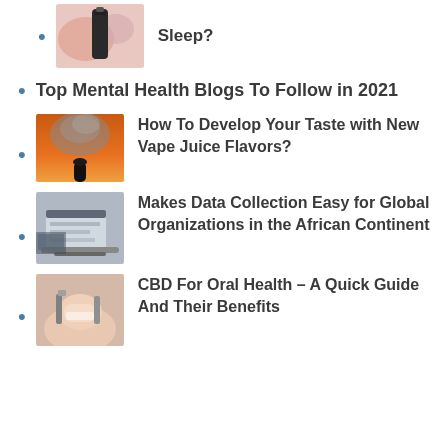[Figure (photo): Partial view: CBD oil bottle with rose petals, text above cut off, title ending in 'Sleep?']
Top Mental Health Blogs To Follow in 2021
How To Develop Your Taste with New Vape Juice Flavors?
[Figure (photo): Person silhouetted against orange sky exhaling vape cloud]
Makes Data Collection Easy for Global Organizations in the African Continent
[Figure (photo): Business person typing on laptop]
CBD For Oral Health – A Quick Guide And Their Benefits
[Figure (photo): Close-up of dental/oral health procedure]